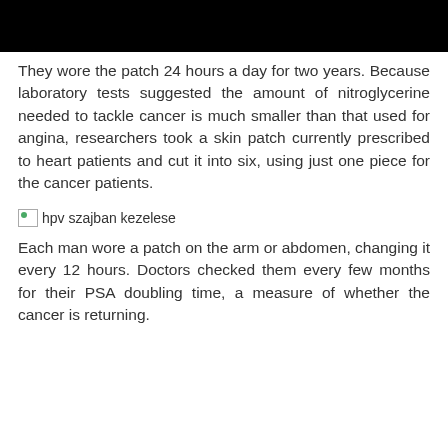[Figure (other): Black redacted bar at top of page]
They wore the patch 24 hours a day for two years. Because laboratory tests suggested the amount of nitroglycerine needed to tackle cancer is much smaller than that used for angina, researchers took a skin patch currently prescribed to heart patients and cut it into six, using just one piece for the cancer patients.
[Figure (other): Broken image placeholder with alt text: hpv szajban kezelese]
Each man wore a patch on the arm or abdomen, changing it every 12 hours. Doctors checked them every few months for their PSA doubling time, a measure of whether the cancer is returning.